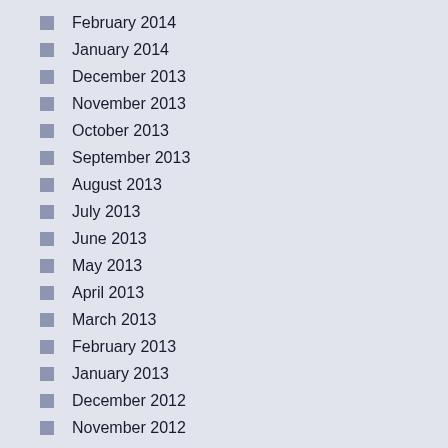February 2014
January 2014
December 2013
November 2013
October 2013
September 2013
August 2013
July 2013
June 2013
May 2013
April 2013
March 2013
February 2013
January 2013
December 2012
November 2012
October 2012
September 2012